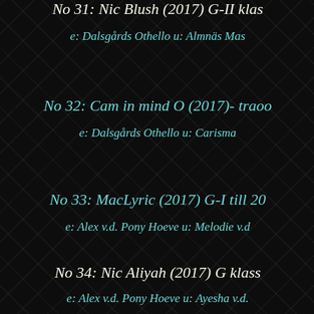No 31: Nic Blush (2017) G-I klass...
e: Dalsgårds Othello u: Almnäs Mas...
No 32: Cam in mind O (2017)- traoo...
e: Dalsgårds Othello u: Carisma...
No 33: MacLyric (2017) G-I till 20...
e: Alex v.d. Pony Hoeve u: Melodie v.d...
No 34: Nic Aliyah (2017) G klass...
e: Alex v.d. Pony Hoeve u: Ayesha v.d. ...